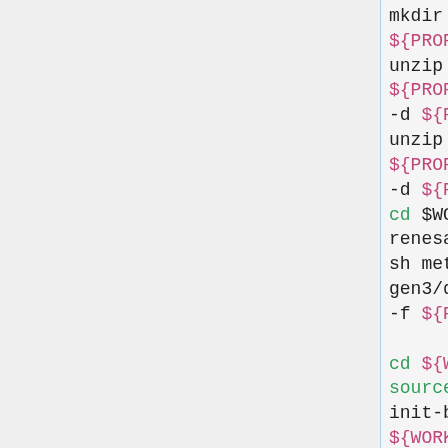mkdir -p ${PROP_DIR}
unzip -qo ${PROPRIETARY_DIR}/${GR... -d ${PROP_DIR}
unzip -qo ${PROPRIETARY_DIR}/${GR... -d ${PROP_DIR}
cd $WORK/meta-renesas
sh meta-rcar-gen3/docs/sample/copyso... -f ${PROP_DIR}

cd ${WORK}
source poky/oe-init-build-env ${WORK}/build

cd ${WORK}/build
cp ${WORK}/meta-renesas/meta-rcar-gen3/docs/sample/conf/$...gcc/mmp/*.conf ./conf/